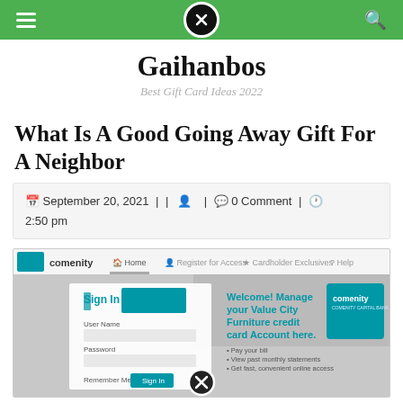Navigation bar with hamburger menu, close button, and search icon
Gaihanbos
Best Gift Card Ideas 2022
What Is A Good Going Away Gift For A Neighbor
September 20, 2021 | | | 0 Comment | 2:50 pm
[Figure (screenshot): Screenshot of Comenity Bank / Value City Furniture credit card account login page showing Sign In form and Welcome message]